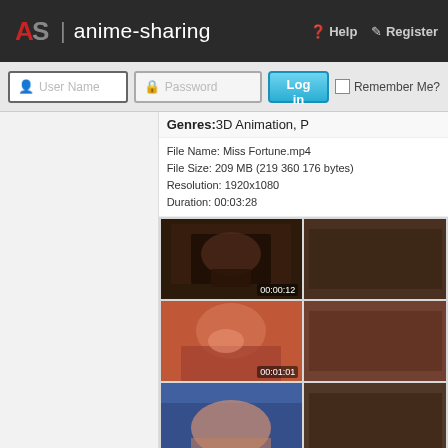AS | anime-sharing   Help   Register
User Name  Password  Log in  Remember Me?
Genres:3D Animation, P
File Name: Miss Fortune.mp4
File Size: 209 MB (219 360 176 bytes)
Resolution: 1920x1080
Duration: 00:03:28
[Figure (screenshot): Video thumbnail at 00:00:12 showing dark 3D animation scene]
[Figure (screenshot): Video thumbnail at 00:01:01 showing red-haired character in 3D animation]
[Figure (screenshot): Video thumbnail at 00:01:50 showing 3D animation scene]